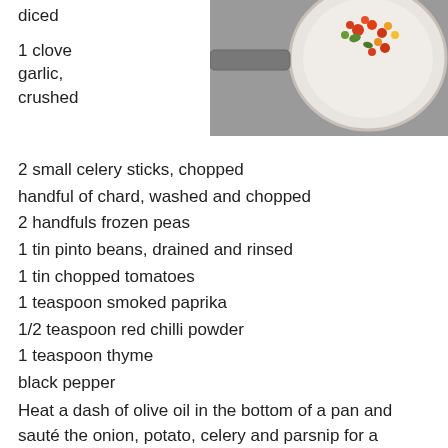diced
1 clove garlic, crushed
[Figure (photo): A white pan/plate viewed from above containing colorful chopped vegetables including tomatoes and greens on a metallic surface.]
2 small celery sticks, chopped
handful of chard, washed and chopped
2 handfuls frozen peas
1 tin pinto beans, drained and rinsed
1 tin chopped tomatoes
1 teaspoon smoked paprika
1/2 teaspoon red chilli powder
1 teaspoon thyme
black pepper
Heat a dash of olive oil in the bottom of a pan and sauté the onion, potato, celery and parsnip for a